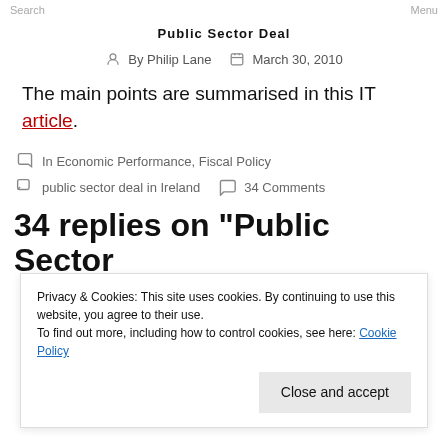Search   Menu
Public Sector Deal
By Philip Lane   March 30, 2010
The main points are summarised in this IT article.
In Economic Performance, Fiscal Policy
public sector deal in Ireland   34 Comments
34 replies on “Public Sector
Privacy & Cookies: This site uses cookies. By continuing to use this website, you agree to their use.
To find out more, including how to control cookies, see here: Cookie Policy
Close and accept